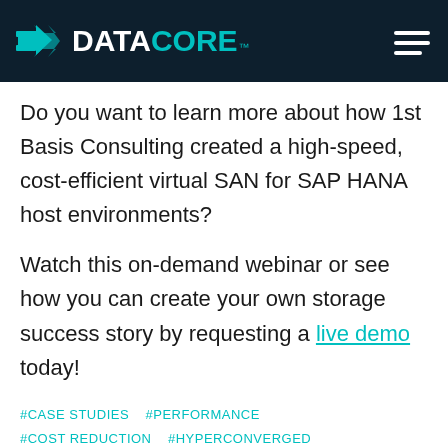DATACORE
Do you want to learn more about how 1st Basis Consulting created a high-speed, cost-efficient virtual SAN for SAP HANA host environments?
Watch this on-demand webinar or see how you can create your own storage success story by requesting a live demo today!
#CASE STUDIES  #PERFORMANCE  #COST REDUCTION  #HYPERCONVERGED  #BUSINESS CONTINUITY  #AGILITY  #DOWNTIME  #WEBINAR